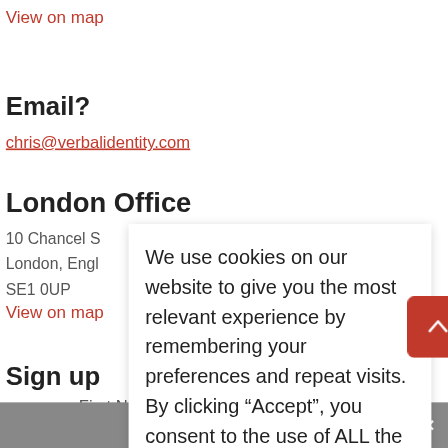View on map
Email?
chris@verbalidentity.com
London Office
10 Chancel S
London, Engl
SE1 0UP
View on map
Sign up
We use cookies on our website to give you the most relevant experience by remembering your preferences and repeat visits. By clicking “Accept”, you consent to the use of ALL the cookies.
Cookie settings
ACCEPT
Share This
First Name